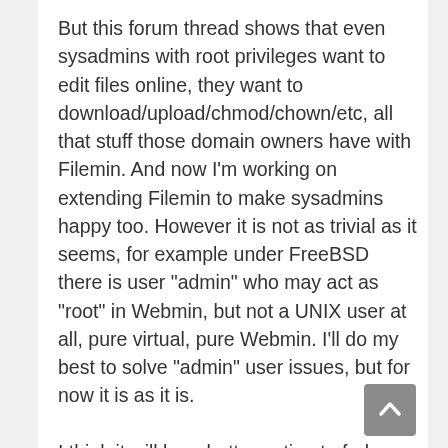But this forum thread shows that even sysadmins with root privileges want to edit files online, they want to download/upload/chmod/chown/etc, all that stuff those domain owners have with Filemin. And now I'm working on extending Filemin to make sysadmins happy too. However it is not as trivial as it seems, for example under FreeBSD there is user "admin" who may act as "root" in Webmin, but not a UNIX user at all, pure virtual, pure Webmin. I'll do my best to solve "admin" user issues, but for now it is as it is.
I think it will be a better option to fork Filemin, I'm already working on creating pure Virtualmin version of